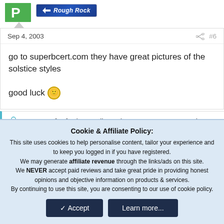[Figure (logo): Green square avatar with letter P and Rough Rock forum badge with arrow icon]
Sep 4, 2003    #6
go to superbcert.com they have great pictures of the solstice styles

good luck 🙂
Not open for further replies. Please create a new topic or
Cookie & Affiliate Policy:
This site uses cookies to help personalise content, tailor your experience and to keep you logged in if you have registered.
We may generate affiliate revenue through the links/ads on this site.
We NEVER accept paid reviews and take great pride in providing honest opinions and objective information on products & services.
By continuing to use this site, you are consenting to our use of cookie policy.